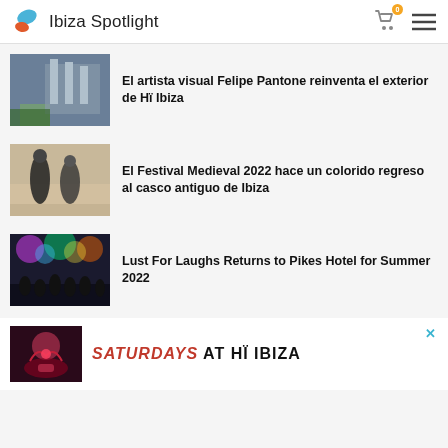Ibiza Spotlight
[Figure (photo): Exterior architectural photo, possibly Hi Ibiza club]
El artista visual Felipe Pantone reinventa el exterior de Hï Ibiza
[Figure (photo): Medieval festival performers in costume fighting]
El Festival Medieval 2022 hace un colorido regreso al casco antiguo de Ibiza
[Figure (photo): Concert crowd with colorful stage lights]
Lust For Laughs Returns to Pikes Hotel for Summer 2022
[Figure (photo): Ad banner image for Saturdays at Hi Ibiza]
SATURDAYS AT HÏ IBIZA